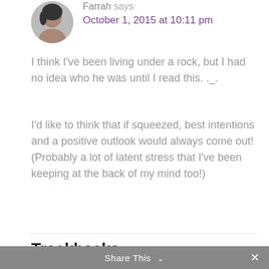[Figure (photo): Avatar photo of commenter Farrah, a woman with dark hair]
Farrah says
October 1, 2015 at 10:11 pm
I think I've been living under a rock, but I had no idea who he was until I read this. ._.
I'd like to think that if squeezed, best intentions and a positive outlook would always come out! (Probably a lot of latent stress that I've been keeping at the back of my mind too!)
Trackbacks
What comes out when youre squeezed? | My Rufus Dog Web Reviews says:
September 28, 2015 at 6:09 pm
Share This